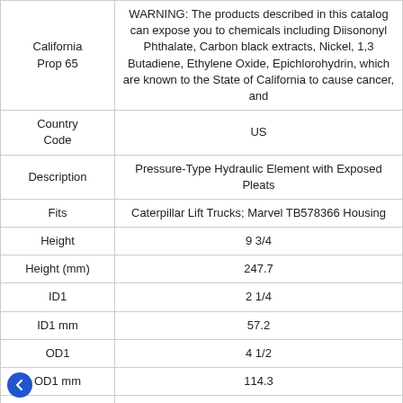| Attribute | Value |
| --- | --- |
| California Prop 65 | WARNING: The products described in this catalog can expose you to chemicals including Diisononyl Phthalate, Carbon black extracts, Nickel, 1,3 Butadiene, Ethylene Oxide, Epichlorohydrin, which are known to the State of California to cause cancer, and |
| Country Code | US |
| Description | Pressure-Type Hydraulic Element with Exposed Pleats |
| Fits | Caterpillar Lift Trucks; Marvel TB578366 Housing |
| Height | 9 3/4 |
| Height (mm) | 247.7 |
| ID1 | 2 1/4 |
| ID1 mm | 57.2 |
| OD1 | 4 1/2 |
| OD1 mm | 114.3 |
| Pom | One End |